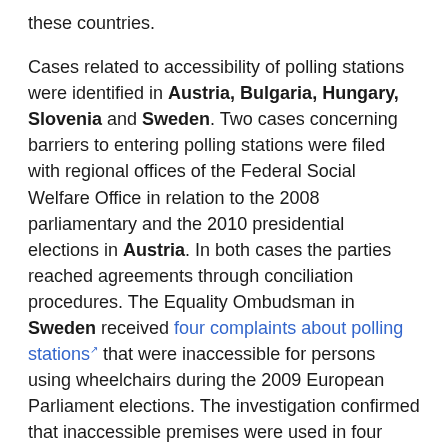these countries.
Cases related to accessibility of polling stations were identified in Austria, Bulgaria, Hungary, Slovenia and Sweden. Two cases concerning barriers to entering polling stations were filed with regional offices of the Federal Social Welfare Office in relation to the 2008 parliamentary and the 2010 presidential elections in Austria. In both cases the parties reached agreements through conciliation procedures. The Equality Ombudsman in Sweden received four complaints about polling stations that were inaccessible for persons using wheelchairs during the 2009 European Parliament elections. The investigation confirmed that inaccessible premises were used in four municipalities and argued that, based on the results of the investigation and in light of the requirements of the Election Act and the CRPD, the cases should be forwarded to the relevant authorities.
In Malta, Slovenia and Spain, this research found cases linked to the accessibility of information regarding elections, specifically for persons with visual and hearing impairments